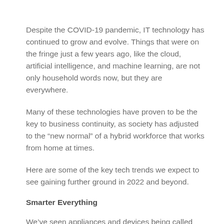Despite the COVID-19 pandemic, IT technology has continued to grow and evolve. Things that were on the fringe just a few years ago, like the cloud, artificial intelligence, and machine learning, are not only household words now, but they are everywhere.
Many of these technologies have proven to be the key to business continuity, as society has adjusted to the “new normal” of a hybrid workforce that works from home at times.
Here are some of the key tech trends we expect to see gaining further ground in 2022 and beyond.
Smarter Everything
We’ve seen appliances and devices being called “smart” for